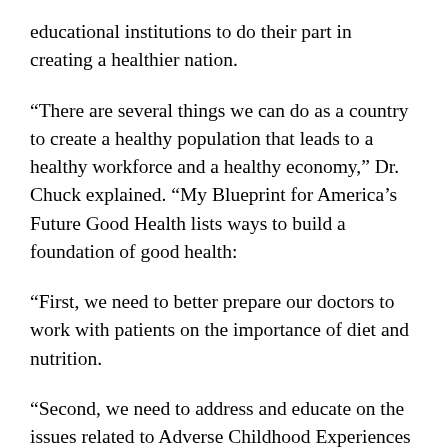educational institutions to do their part in creating a healthier nation.
“There are several things we can do as a country to create a healthy population that leads to a healthy workforce and a healthy economy,” Dr. Chuck explained. “My Blueprint for America’s Future Good Health lists ways to build a foundation of good health:
“First, we need to better prepare our doctors to work with patients on the importance of diet and nutrition.
“Second, we need to address and educate on the issues related to Adverse Childhood Experiences (ACEs), so our future populations are less impacted by negative lifestyle